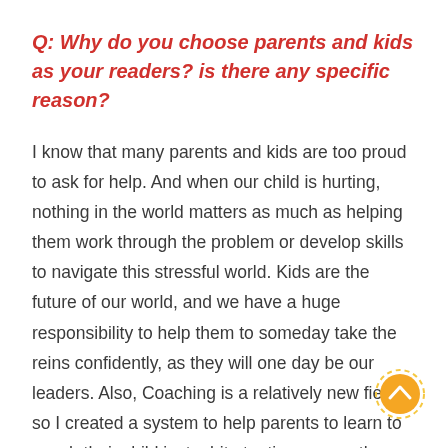Q: Why do you choose parents and kids as your readers? is there any specific reason?
I know that many parents and kids are too proud to ask for help. And when our child is hurting, nothing in the world matters as much as helping them work through the problem or develop skills to navigate this stressful world. Kids are the future of our world, and we have a huge responsibility to help them to someday take the reins confidently, as they will one day be our leaders. Also, Coaching is a relatively new field, so I created a system to help parents to learn to coach their child just a bit at a time over a three week period. In this forma parent and the child work together and complete